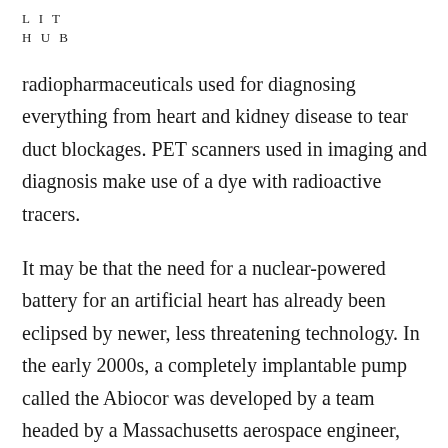L I T
H U B
radiopharmaceuticals used for diagnosing everything from heart and kidney disease to tear duct blockages. PET scanners used in imaging and diagnosis make use of a dye with radioactive tracers.
It may be that the need for a nuclear-powered battery for an artificial heart has already been eclipsed by newer, less threatening technology. In the early 2000s, a completely implantable pump called the Abiocor was developed by a team headed by a Massachusetts aerospace engineer, David M. Lederman, and a PhD